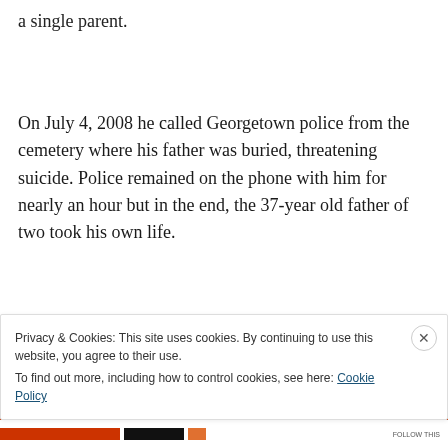a single parent.
On July 4, 2008 he called Georgetown police from the cemetery where his father was buried, threatening suicide. Police remained on the phone with him for nearly an hour but in the end, the 37-year old father of two took his own life.
Advertisements
Privacy & Cookies: This site uses cookies. By continuing to use this website, you agree to their use.
To find out more, including how to control cookies, see here: Cookie Policy
Close and accept